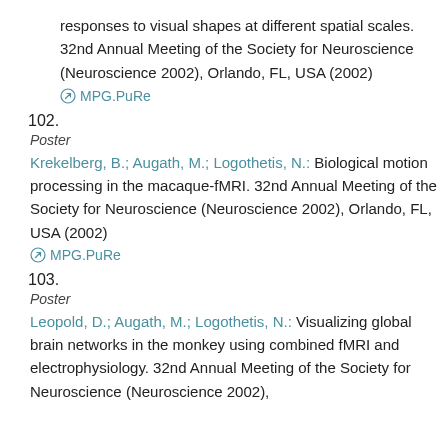responses to visual shapes at different spatial scales. 32nd Annual Meeting of the Society for Neuroscience (Neuroscience 2002), Orlando, FL, USA (2002)
MPG.PuRe
102.
Poster
Krekelberg, B.; Augath, M.; Logothetis, N.: Biological motion processing in the macaque-fMRI. 32nd Annual Meeting of the Society for Neuroscience (Neuroscience 2002), Orlando, FL, USA (2002)
MPG.PuRe
103.
Poster
Leopold, D.; Augath, M.; Logothetis, N.: Visualizing global brain networks in the monkey using combined fMRI and electrophysiology. 32nd Annual Meeting of the Society for Neuroscience (Neuroscience 2002),